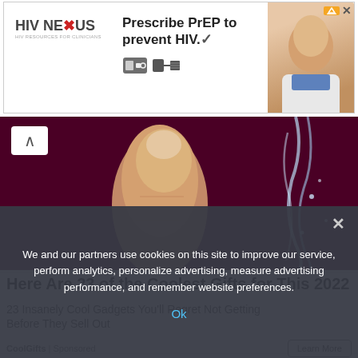[Figure (screenshot): HIV Nexus advertisement banner: logo on left, 'Prescribe PrEP to prevent HIV.' headline in center, photo of man on right, close button top-right]
[Figure (photo): Close-up photo of a finger touching running water against a dark purple/maroon background, with an up-arrow navigation button in top-left corner]
Here Are 23 of the Coolest Gifts for This 2022
23 Insanely Cool Gadgets You'll Regret Not Getting Before They Sell Out
CoolGifts | Sponsored
Learn More
[Figure (photo): Partial photo at bottom of page showing two sections: left is gray/white, right shows skin tone, partially obscured by cookie consent banner]
We and our partners use cookies on this site to improve our service, perform analytics, personalize advertising, measure advertising performance, and remember website preferences.
Ok